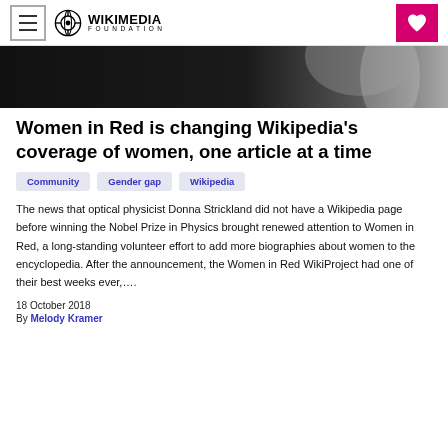Wikimedia Foundation
[Figure (photo): Black and white photo, partial figure visible against dark background]
Women in Red is changing Wikipedia's coverage of women, one article at a time
Community
Gender gap
Wikipedia
The news that optical physicist Donna Strickland did not have a Wikipedia page before winning the Nobel Prize in Physics brought renewed attention to Women in Red, a long-standing volunteer effort to add more biographies about women to the encyclopedia. After the announcement, the Women in Red WikiProject had one of their best weeks ever,….
18 October 2018
By Melody Kramer